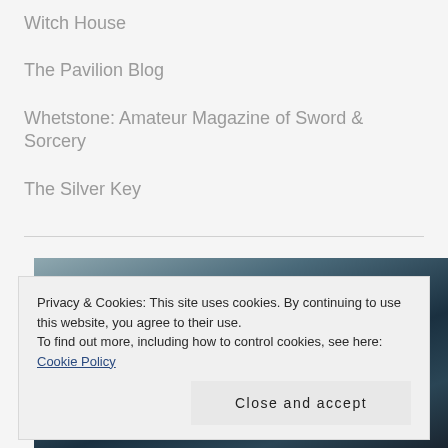Witch House
The Pavilion Blog
Whetstone: Amateur Magazine of Sword & Sorcery
The Silver Key
[Figure (photo): Partial photo visible behind cookie consent banner, appears to show a dark teal/blue scene, possibly a person or object against a blurred background]
Privacy & Cookies: This site uses cookies. By continuing to use this website, you agree to their use.
To find out more, including how to control cookies, see here: Cookie Policy
Close and accept